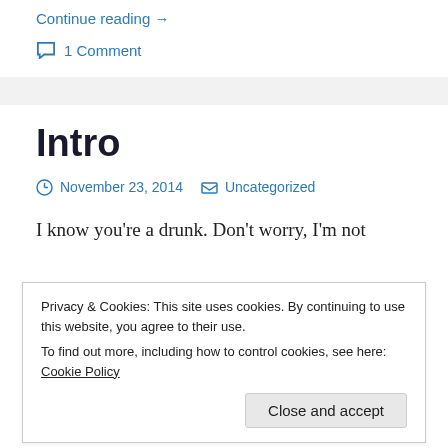Continue reading →
1 Comment
Intro
November 23, 2014   Uncategorized
I know you're a drunk. Don't worry, I'm not
Privacy & Cookies: This site uses cookies. By continuing to use this website, you agree to their use.
To find out more, including how to control cookies, see here: Cookie Policy
Close and accept
alcoholic. I know you used to spend every